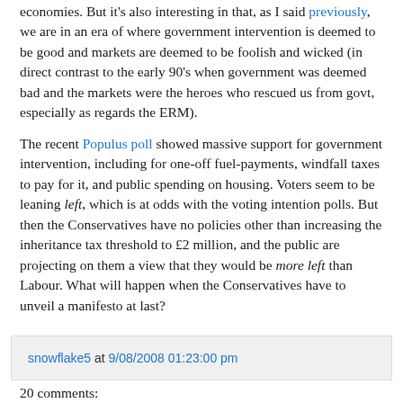economies. But it's also interesting in that, as I said previously, we are in an era of where government intervention is deemed to be good and markets are deemed to be foolish and wicked (in direct contrast to the early 90's when government was deemed bad and the markets were the heroes who rescued us from govt, especially as regards the ERM).
The recent Populus poll showed massive support for government intervention, including for one-off fuel-payments, windfall taxes to pay for it, and public spending on housing. Voters seem to be leaning left, which is at odds with the voting intention polls. But then the Conservatives have no policies other than increasing the inheritance tax threshold to £2 million, and the public are projecting on them a view that they would be more left than Labour. What will happen when the Conservatives have to unveil a manifesto at last?
snowflake5 at 9/08/2008 01:23:00 pm
20 comments: